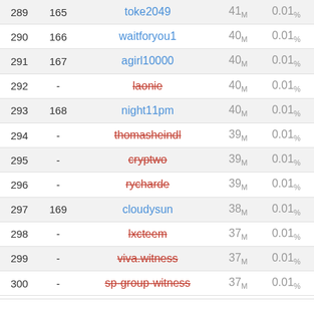| # | Rank | Username | MVests | % |
| --- | --- | --- | --- | --- |
| 289 | 165 | toke2049 | 41M | 0.01% |
| 290 | 166 | waitforyou1 | 40M | 0.01% |
| 291 | 167 | agirl10000 | 40M | 0.01% |
| 292 | - | laonie (strikethrough) | 40M | 0.01% |
| 293 | 168 | night11pm | 40M | 0.01% |
| 294 | - | thomasheindl (strikethrough) | 39M | 0.01% |
| 295 | - | cryptwo (strikethrough) | 39M | 0.01% |
| 296 | - | rycharde (strikethrough) | 39M | 0.01% |
| 297 | 169 | cloudysun | 38M | 0.01% |
| 298 | - | lxcteem (strikethrough) | 37M | 0.01% |
| 299 | - | viva.witness (strikethrough) | 37M | 0.01% |
| 300 | - | sp-group-witness (strikethrough) | 37M | 0.01% |
Built by @oflyhigh
Processed in 0.9069 second(s)